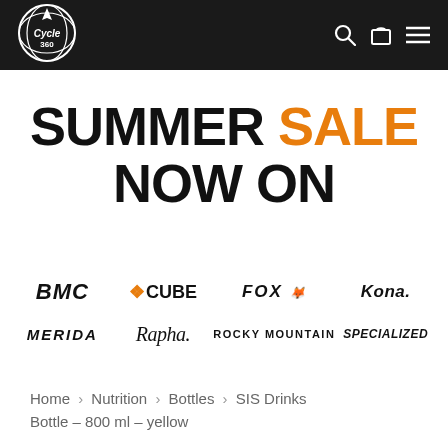Cycle 360 — navigation bar with logo, search, cart, and menu icons
SUMMER SALE NOW ON
[Figure (logo): Brand logos: BMC, CUBE, FOX, KONA, MERIDA, Rapha, ROCKY MOUNTAIN, SPECIALIZED]
Home › Nutrition › Bottles › SIS Drinks Bottle – 800 ml – yellow